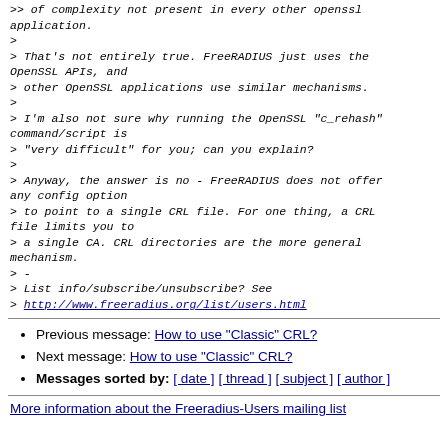>> of complexity not present in every other openssl application.
>
> That's not entirely true. FreeRADIUS just uses the OpenSSL APIs, and
> other OpenSSL applications use similar mechanisms.
>
> I'm also not sure why running the OpenSSL "c_rehash" command/script is
> "very difficult" for you; can you explain?
>
> Anyway, the answer is no - FreeRADIUS does not offer any config option
> to point to a single CRL file. For one thing, a CRL file limits you to
> a single CA. CRL directories are the more general mechanism.
> -
> List info/subscribe/unsubscribe? See
> http://www.freeradius.org/list/users.html
Previous message: How to use "Classic" CRL?
Next message: How to use "Classic" CRL?
Messages sorted by: [ date ] [ thread ] [ subject ] [ author ]
More information about the Freeradius-Users mailing list